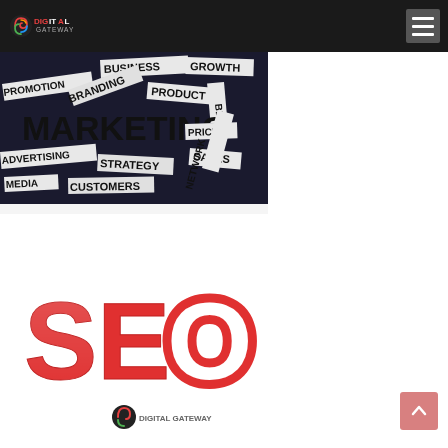Digital Gateway — navigation header with logo and hamburger menu
[Figure (illustration): Marketing word collage on dark background featuring words: BUSINESS, GROWTH, PROMOTION, BRANDING, PRODUCT, BLOG, MARKETING (large), PRICE, ADVERTISING, STRATEGY, SALES, MEDIA, CUSTOMERS, NETWORK — arranged on paper scraps]
lead management software features @ INR5000/-only, lead mana ...
[Figure (illustration): 3D red block letters spelling SEO with Digital Gateway logo overlay at bottom center]